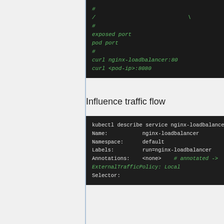[Figure (screenshot): Terminal code block showing commented lines with exposed port, pod port, curl commands for nginx-loadbalancer:80 and pod-ip:8080]
Influence traffic flow
[Figure (screenshot): Terminal showing kubectl describe service nginx-loadbalancer output with Name, Namespace, Labels, Annotations, ExternalTrafficPolicy and Selector fields]